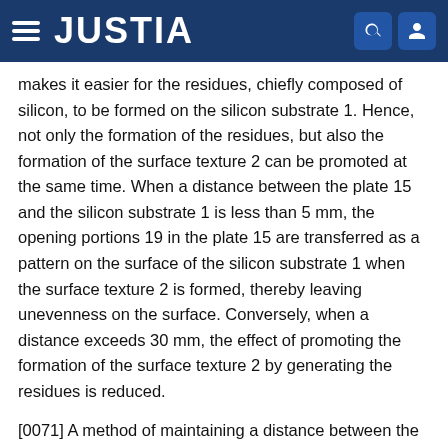JUSTIA
makes it easier for the residues, chiefly composed of silicon, to be formed on the silicon substrate 1. Hence, not only the formation of the residues, but also the formation of the surface texture 2 can be promoted at the same time. When a distance between the plate 15 and the silicon substrate 1 is less than 5 mm, the opening portions 19 in the plate 15 are transferred as a pattern on the surface of the silicon substrate 1 when the surface texture 2 is formed, thereby leaving unevenness on the surface. Conversely, when a distance exceeds 30 mm, the effect of promoting the formation of the surface texture 2 by generating the residues is reduced.
[0071] A method of maintaining a distance between the plate 15 and the silicon substrate 1 is not especially limited. For example, as shown in FIG. 4 through FIG. 7, a